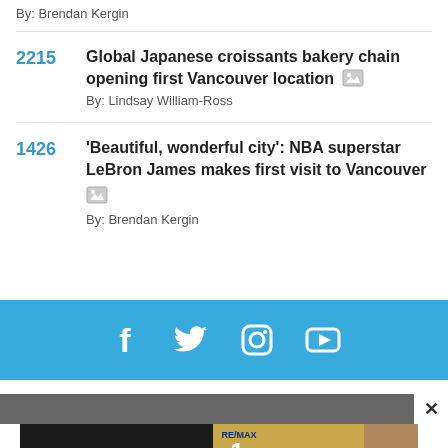By: Brendan Kergin
2215 Global Japanese croissants bakery chain opening first Vancouver location By: Lindsay William-Ross
1426 'Beautiful, wonderful city': NBA superstar LeBron James makes first visit to Vancouver By: Brendan Kergin
[Figure (infographic): Social media bar with Facebook, Twitter, Instagram, and YouTube icons on a blue background]
[Figure (infographic): Advertisement banner for Team Michelle Yu, RE/MAX Owner Team in Vancouver, #1 RE/MAX Top BC Condominium July 2015]